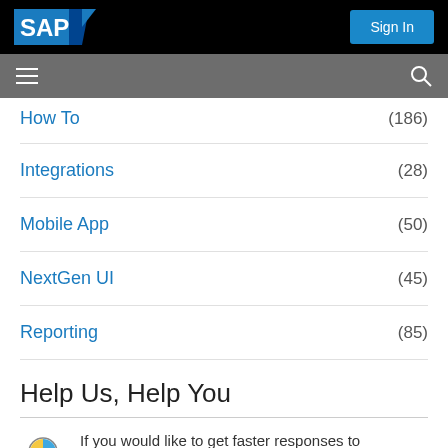[Figure (logo): SAP logo on black background with Sign In button]
[Figure (screenshot): Gray navigation bar with hamburger menu and search icon]
How To (186)
Integrations (28)
Mobile App (50)
NextGen UI (45)
Reporting (85)
Help Us, Help You
If you would like to get faster responses to